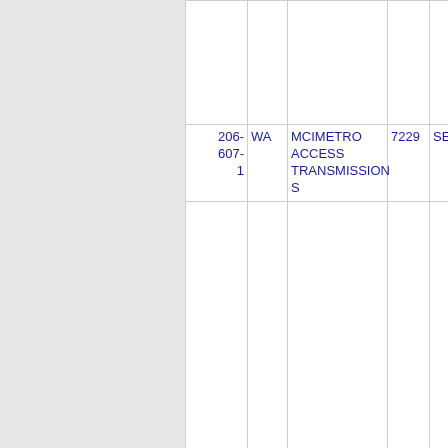| Phone | State | Company | ZIP | City |
| --- | --- | --- | --- | --- |
|  |  |  |  |  |
| 206-607-1 | WA | MCIMETRO ACCESS TRANSMISSIONS | 7229 | SEAT |